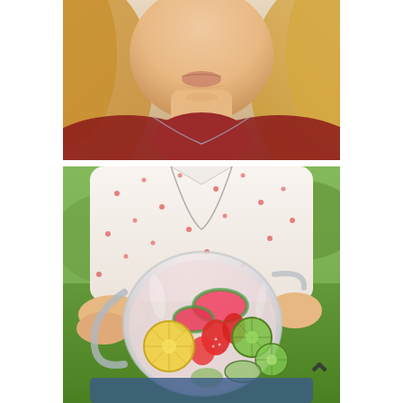[Figure (photo): Close-up photo of a blonde woman's chin, neck and shoulders area. She is wearing a dark red top and a chain necklace. The background is blurred and light-colored.]
[Figure (photo): Photo of a woman in a white short-sleeve top with red polka dots holding a large glass pitcher filled with infused water containing watermelon slices, strawberries, lemon slices, lime slices, and cucumber slices. She is outdoors with a green background. A black upward-pointing chevron/arrow symbol is visible in the lower right of the image.]